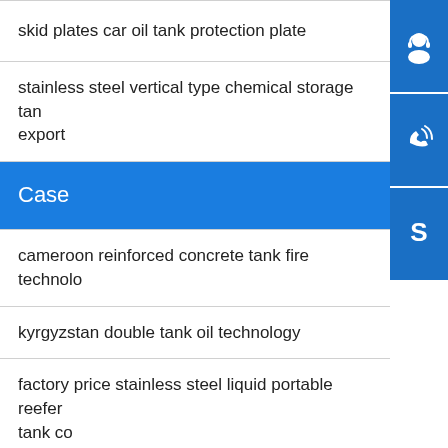skid plates car oil tank protection plate
stainless steel vertical type chemical storage tank export
Case
cameroon reinforced concrete tank fire technology
kyrgyzstan double tank oil technology
factory price stainless steel liquid portable reefer tank co
5 best rv portable waste tank reviews 2020 top picks